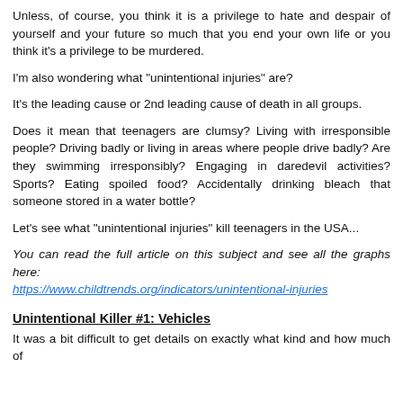Unless, of course, you think it is a privilege to hate and despair of yourself and your future so much that you end your own life or you think it's a privilege to be murdered.
I'm also wondering what "unintentional injuries" are?
It's the leading cause or 2nd leading cause of death in all groups.
Does it mean that teenagers are clumsy? Living with irresponsible people? Driving badly or living in areas where people drive badly? Are they swimming irresponsibly? Engaging in daredevil activities? Sports? Eating spoiled food? Accidentally drinking bleach that someone stored in a water bottle?
Let's see what "unintentional injuries" kill teenagers in the USA...
You can read the full article on this subject and see all the graphs here: https://www.childtrends.org/indicators/unintentional-injuries
Unintentional Killer #1: Vehicles
It was a bit difficult to get details on exactly what kind and how much of